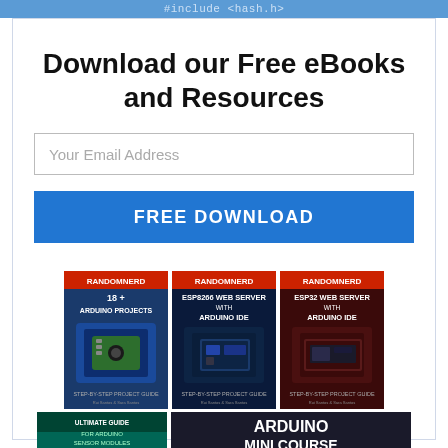#include <hash.h>
Download our Free eBooks and Resources
Your Email Address
FREE DOWNLOAD
[Figure (illustration): Collection of free eBooks and resources: '18+ Arduino Projects', 'ESP8266 Web Server with Arduino IDE', 'ESP32 Web Server with Arduino IDE', 'Ultimate Guide for Arduino Sensor Modules', and 'Arduino Mini Course']